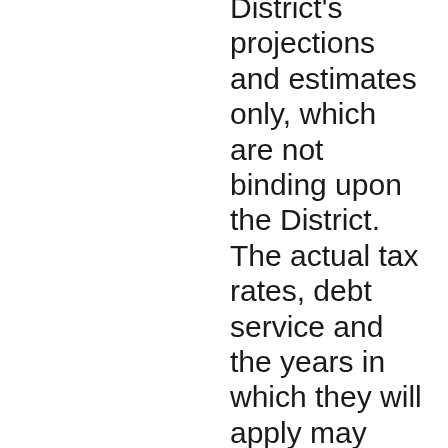District's projections and estimates only, which are not binding upon the District. The actual tax rates, debt service and the years in which they will apply may vary